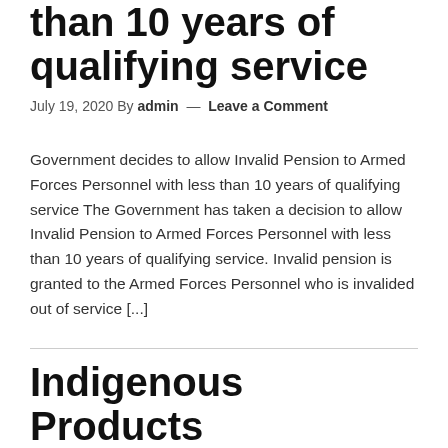than 10 years of qualifying service
July 19, 2020 By admin — Leave a Comment
Government decides to allow Invalid Pension to Armed Forces Personnel with less than 10 years of qualifying service The Government has taken a decision to allow Invalid Pension to Armed Forces Personnel with less than 10 years of qualifying service. Invalid pension is granted to the Armed Forces Personnel who is invalided out of service [...]
Indigenous Products only available in